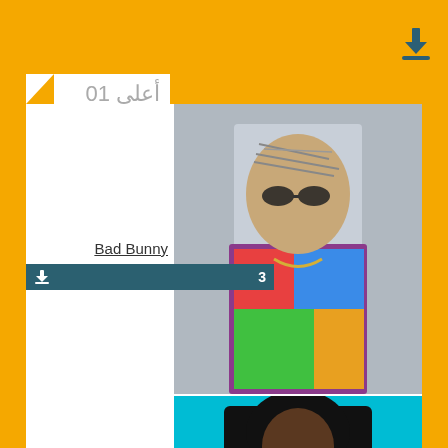أعلى 10
Bad Bunny
↓ 3
Future
↓ 2
Doja Cat